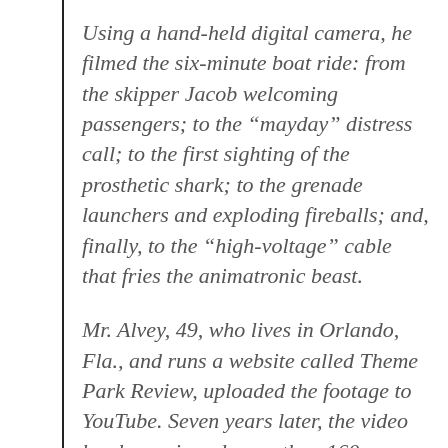Using a hand-held digital camera, he filmed the six-minute boat ride: from the skipper Jacob welcoming passengers; to the “mayday” distress call; to the first sighting of the prosthetic shark; to the grenade launchers and exploding fireballs; and, finally, to the “high-voltage” cable that fries the animatronic beast.
Mr. Alvey, 49, who lives in Orlando, Fla., and runs a website called Theme Park Review, uploaded the footage to YouTube. Seven years later, the video has been viewed more than 160